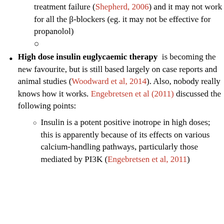treatment failure (Shepherd, 2006) and it may not work for all the β-blockers (eg. it may not be effective for propanolol)
○
High dose insulin euglycaemic therapy is becoming the new favourite, but is still based largely on case reports and animal studies (Woodward et al, 2014). Also, nobody really knows how it works. Engebretsen et al (2011) discussed the following points:
Insulin is a potent positive inotrope in high doses; this is apparently because of its effects on various calcium-handling pathways, particularly those mediated by PI3K (Engebretsen et al, 2011)